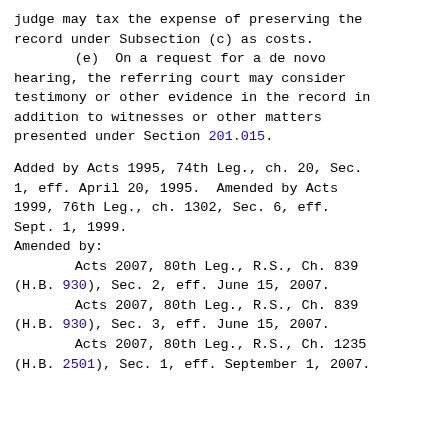judge may tax the expense of preserving the record under Subsection (c) as costs.
    (e)  On a request for a de novo hearing, the referring court may consider testimony or other evidence in the record in addition to witnesses or other matters presented under Section 201.015.
Added by Acts 1995, 74th Leg., ch. 20, Sec. 1, eff. April 20, 1995.  Amended by Acts 1999, 76th Leg., ch. 1302, Sec. 6, eff. Sept. 1, 1999.
Amended by:
        Acts 2007, 80th Leg., R.S., Ch. 839 (H.B. 930), Sec. 2, eff. June 15, 2007.
        Acts 2007, 80th Leg., R.S., Ch. 839 (H.B. 930), Sec. 3, eff. June 15, 2007.
        Acts 2007, 80th Leg., R.S., Ch. 1235 (H.B. 2501), Sec. 1, eff. September 1, 2007.